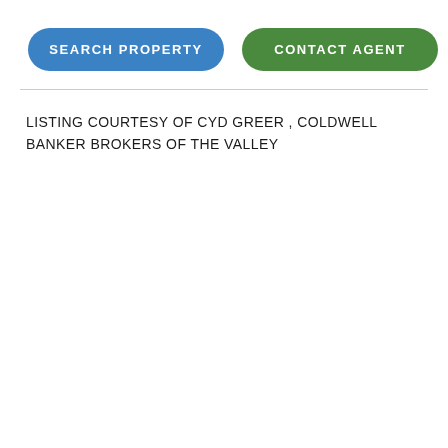[Figure (screenshot): Two pill-shaped buttons: 'SEARCH PROPERTY' in blue and 'CONTACT AGENT' in green]
LISTING COURTESY OF CYD GREER , COLDWELL BANKER BROKERS OF THE VALLEY